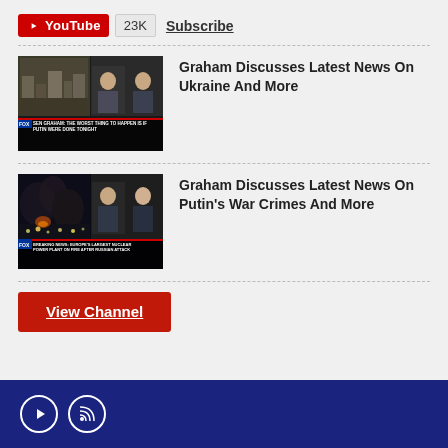[Figure (logo): YouTube subscribe badge with 23K subscribers and Subscribe link]
[Figure (screenshot): Video thumbnail: Graham Discusses Latest News On Ukraine And More - Fox News broadcast screenshot]
Graham Discusses Latest News On Ukraine And More
[Figure (screenshot): Video thumbnail: Graham Discusses Latest News On Putin's War Crimes And More - Fox News breaking news nuclear power plant screenshot]
Graham Discusses Latest News On Putin's War Crimes And More
View Channel
[Figure (logo): Footer with YouTube and RSS icons on dark navy blue background]